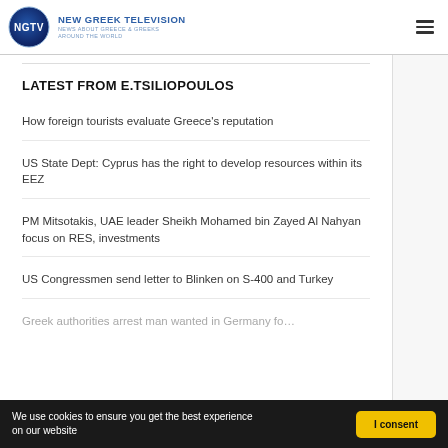NEW GREEK TELEVISION NEWS ABOUT GREECE & GREEKS AROUND THE WORLD
LATEST FROM E.TSILIOPOULOS
How foreign tourists evaluate Greece's reputation
US State Dept: Cyprus has the right to develop resources within its EEZ
PM Mitsotakis, UAE leader Sheikh Mohamed bin Zayed Al Nahyan focus on RES, investments
US Congressmen send letter to Blinken on S-400 and Turkey
Greek authorities arrest man wanted in Germany for…
We use cookies to ensure you get the best experience on our website